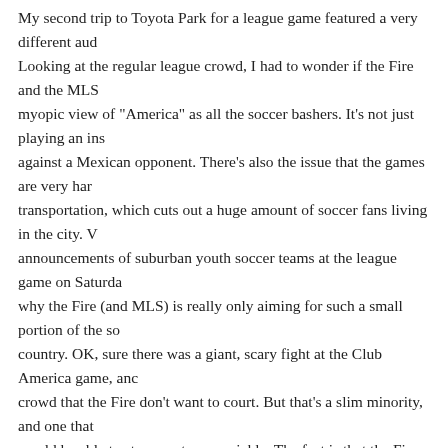My second trip to Toyota Park for a league game featured a very different audience. Looking at the regular league crowd, I had to wonder if the Fire and the MLS myopic view of "America" as all the soccer bashers. It's not just playing an ins against a Mexican opponent. There's also the issue that the games are very har transportation, which cuts out a huge amount of soccer fans living in the city. V announcements of suburban youth soccer teams at the league game on Saturda why the Fire (and MLS) is really only aiming for such a small portion of the s country. OK, sure there was a giant, scary fight at the Club America game, anc crowd that the Fire don't want to court. But that's a slim minority, and one that would be able to stamp out very quickly. The fact is that the Fire need to pull f fanbase if they want to survive, not just suburban kids and their parents. Mayb that the stadium was only half full for the Dallas game this weekend though. V their minds, Americans have a pretty good idea of what good soccer looks like have seen it from the Fire this Saturday. Which brings me to my next point...
Three: We Need to Fire Our Manager — No This is not a Repeat of Cubs
It's been three years and I've been patient. But I'm officially on the Fire Dave S Saturday's lead-blowing loss brought together far too many of Dave's faults as him any more. In typical Sarachan fashion, he put out a starting lineup that fea aduiring position when the results are foretold by Diego Gaitian and the b